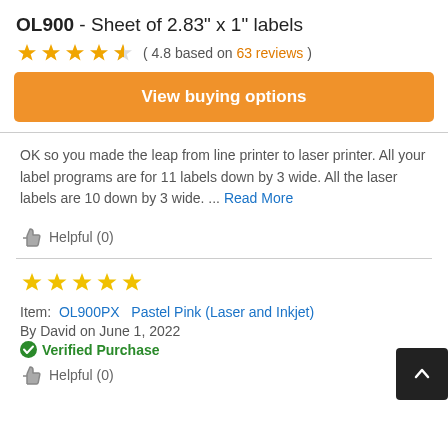OL900 - Sheet of 2.83" x 1" labels
( 4.8 based on 63 reviews )
View buying options
OK so you made the leap from line printer to laser printer. All your label programs are for 11 labels down by 3 wide. All the laser labels are 10 down by 3 wide. ... Read More
Helpful (0)
5 stars
Item: OL900PX   Pastel Pink (Laser and Inkjet)
By David on June 1, 2022
Verified Purchase
Helpful (0)